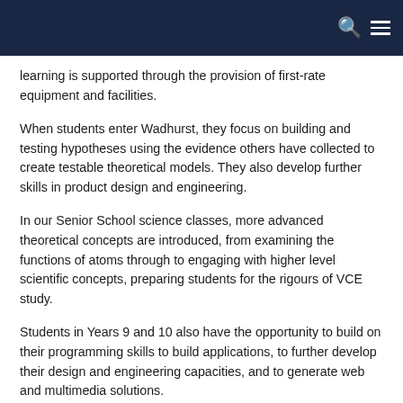learning is supported through the provision of first-rate equipment and facilities.
When students enter Wadhurst, they focus on building and testing hypotheses using the evidence others have collected to create testable theoretical models. They also develop further skills in product design and engineering.
In our Senior School science classes, more advanced theoretical concepts are introduced, from examining the functions of atoms through to engaging with higher level scientific concepts, preparing students for the rigours of VCE study.
Students in Years 9 and 10 also have the opportunity to build on their programming skills to build applications, to further develop their design and engineering capacities, and to generate web and multimedia solutions.
The traditional science subjects – Biology, Chemistry,